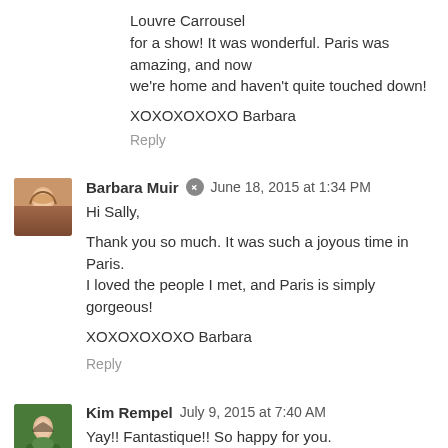Louvre Carrousel
for a show! It was wonderful. Paris was amazing, and now we're home and haven't quite touched down!
XOXOXOXOXO Barbara
Reply
Barbara Muir  June 18, 2015 at 1:34 PM
Hi Sally,
Thank you so much. It was such a joyous time in Paris. I loved the people I met, and Paris is simply gorgeous!
XOXOXOXOXO Barbara
Reply
Kim Rempel  July 9, 2015 at 7:40 AM
Yay!! Fantastique!! So happy for you.